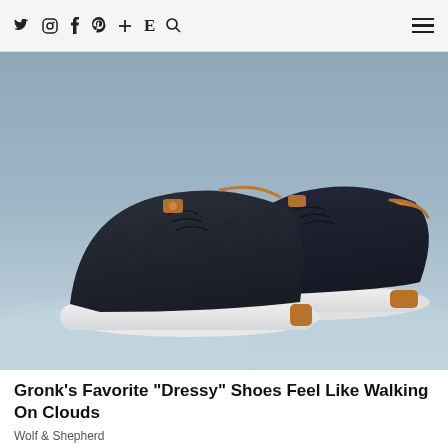y  o  f  p  +  E  Q  ≡
[Figure (photo): Two dark navy knit sneakers with tan leather heel accents and white soles, displayed on a light blue sandy surface against a gray-blue background.]
Gronk's Favorite "Dressy" Shoes Feel Like Walking On Clouds
Wolf & Shepherd